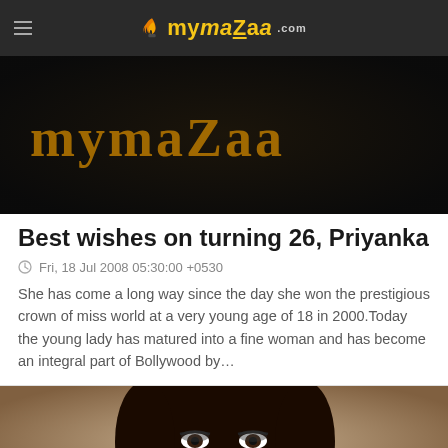mymazaa.com
[Figure (screenshot): mymazaa logo text on dark background]
Best wishes on turning 26, Priyanka
Fri, 18 Jul 2008 05:30:00 +0530
She has come a long way since the day she won the prestigious crown of miss world at a very young age of 18 in 2000.Today the young lady has matured into a fine woman and has become an integral part of Bollywood by…
[Figure (photo): Close-up photo of a Bollywood actress face]